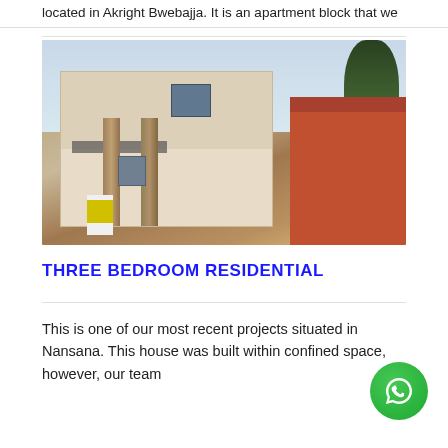located in Akright Bwebajja. It is an apartment block that we
[Figure (photo): Exterior photograph of a multi-storey residential apartment building with stone columns, balcony railings, and an adjacent orange/red building. A person in a hi-vis vest stands at the entrance.]
THREE BEDROOM RESIDENTIAL
This is one of our most recent projects situated in Nansana. This house was built within confined space, however, our team